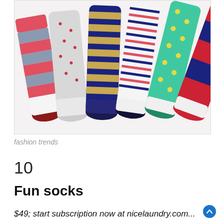[Figure (photo): A fan arrangement of colorful patterned socks displayed against a white background. Socks include coral/gray horizontal stripes, gray with red polka dots, navy/gold diagonal stripes, white/navy/pink thin stripes, teal with yellow polka dots, and red/navy wide horizontal stripes.]
fashion trends
10
Fun socks
$49; start subscription now at nicelaundry.com...